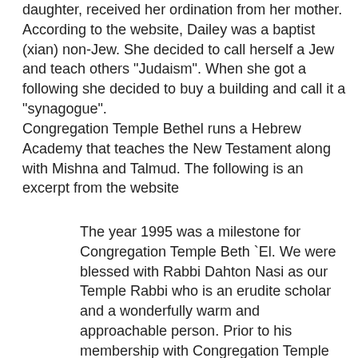daughter, received her ordination from her mother. According to the website, Dailey was a baptist (xian) non-Jew. She decided to call herself a Jew and teach others "Judaism". When she got a following she decided to buy a building and call it a "synagogue". Congregation Temple Bethel runs a Hebrew Academy that teaches the New Testament along with Mishna and Talmud. The following is an excerpt from the website
The year 1995 was a milestone for Congregation Temple Beth `El. We were blessed with Rabbi Dahton Nasi as our Temple Rabbi who is an erudite scholar and a wonderfully warm and approachable person. Prior to his membership with Congregation Temple Beth`El, Rabbi Nasi served as Temple Rabbi and spiritual leader at Adath Emet Yisrael from 1962 to 1972. He received his rabbinical ordination documentation in 1962 after completing the required courses at a private university and at Rutgers College. Among his credentials beyond his Teudah at S'meechut is a Doctor of Divinity degree from the